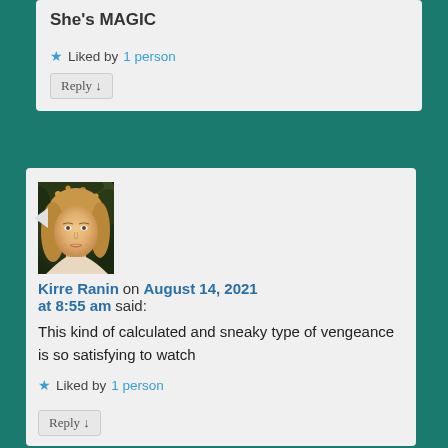She's MAGIC
★ Liked by 1 person
Reply ↓
[Figure (photo): Avatar portrait of Kirre Ranin - classical painting style showing a woman with flowers in hair]
Kirre Ranin on August 14, 2021 at 8:55 am said:
This kind of calculated and sneaky type of vengeance is so satisfying to watch
★ Liked by 1 person
Reply ↓